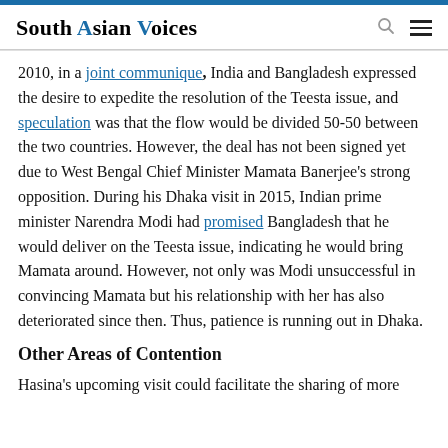South Asian Voices
2010, in a joint communique, India and Bangladesh expressed the desire to expedite the resolution of the Teesta issue, and speculation was that the flow would be divided 50-50 between the two countries. However, the deal has not been signed yet due to West Bengal Chief Minister Mamata Banerjee's strong opposition. During his Dhaka visit in 2015, Indian prime minister Narendra Modi had promised Bangladesh that he would deliver on the Teesta issue, indicating he would bring Mamata around. However, not only was Modi unsuccessful in convincing Mamata but his relationship with her has also deteriorated since then. Thus, patience is running out in Dhaka.
Other Areas of Contention
Hasina's upcoming visit could facilitate the sharing of more